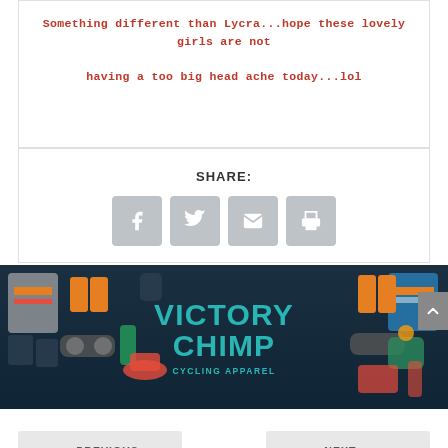Something different than Lycra...hope these lovely girls are not having a too big head ache today...lol
SHARE:
[Figure (illustration): Victory Chimp cycling apparel advertisement banner showing cycling jerseys, accessories, socks, sunglasses, and other cycling gear arranged around the Victory Chimp Cycling Apparel logo text in teal color on dark background]
< PREVIOUS
NEXT >